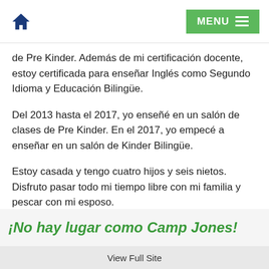Home | MENU
de Pre Kinder. Además de mi certificación docente, estoy certificada para enseñar Inglés como Segundo Idioma y Educación Bilingüe.
Del 2013 hasta el 2017, yo enseñé en un salón de clases de Pre Kinder. En el 2017, yo empecé a enseñar en un salón de Kinder Bilingüe.
Estoy casada y tengo cuatro hijos y seis nietos. Disfruto pasar todo mi tiempo libre con mi familia y pescar con mi esposo.
¡No hay lugar como Camp Jones!
View Full Site